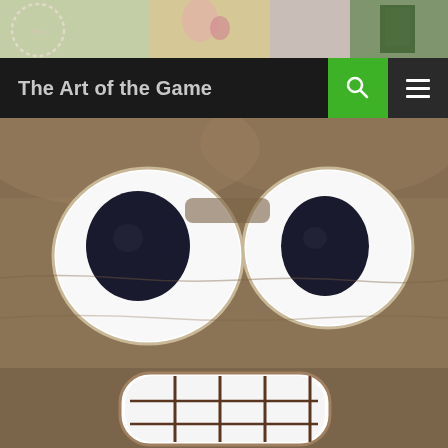[Figure (photo): Top banner with colorful artwork including painted characters and mixed media on a shelf/wall]
The Art of the Game
[Figure (photo): Close-up photograph of a plush toy with a flat rectangular brown face, large white oval eyes with dark navy pupils, and a white rectangular mouth with grid-like teeth pattern — resembling Bender from Futurama]